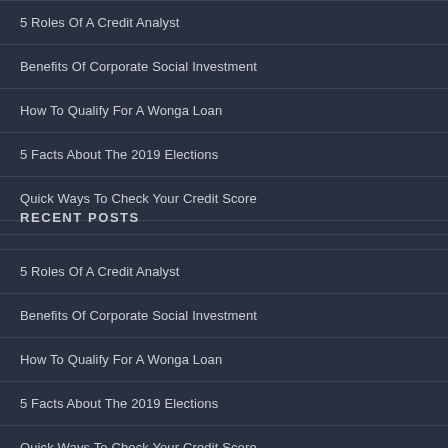5 Roles Of A Credit Analyst
Benefits Of Corporate Social Investment
How To Qualify For A Wonga Loan
5 Facts About The 2019 Elections
Quick Ways To Check Your Credit Score
RECENT POSTS
5 Roles Of A Credit Analyst
Benefits Of Corporate Social Investment
How To Qualify For A Wonga Loan
5 Facts About The 2019 Elections
Quick Ways To Check Your Credit Score